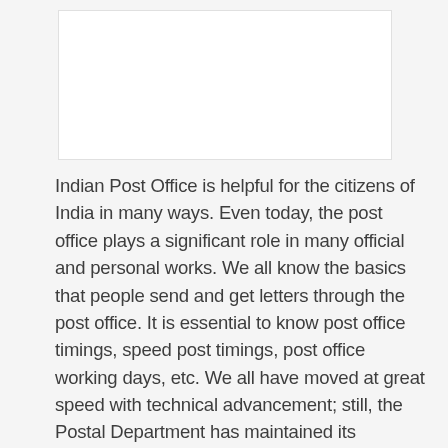[Figure (other): White rectangular image placeholder area at the top of the page]
Indian Post Office is helpful for the citizens of India in many ways. Even today, the post office plays a significant role in many official and personal works. We all know the basics that people send and get letters through the post office. It is essential to know post office timings, speed post timings, post office working days, etc. We all have moved at great speed with technical advancement; still, the Postal Department has maintained its harmony.